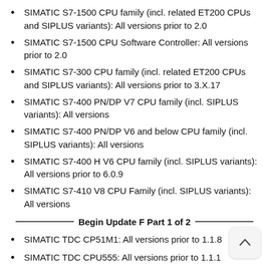SIMATIC S7-1500 CPU family (incl. related ET200 CPUs and SIPLUS variants): All versions prior to 2.0
SIMATIC S7-1500 CPU Software Controller: All versions prior to 2.0
SIMATIC S7-300 CPU family (incl. related ET200 CPUs and SIPLUS variants): All versions prior to 3.X.17
SIMATIC S7-400 PN/DP V7 CPU family (incl. SIPLUS variants): All versions
SIMATIC S7-400 PN/DP V6 and below CPU family (incl. SIPLUS variants): All versions
SIMATIC S7-400 H V6 CPU family (incl. SIPLUS variants): All versions prior to 6.0.9
SIMATIC S7-410 V8 CPU Family (incl. SIPLUS variants): All versions
Begin Update F Part 1 of 2
SIMATIC TDC CP51M1: All versions prior to 1.1.8
SIMATIC TDC CPU555: All versions prior to 1.1.1